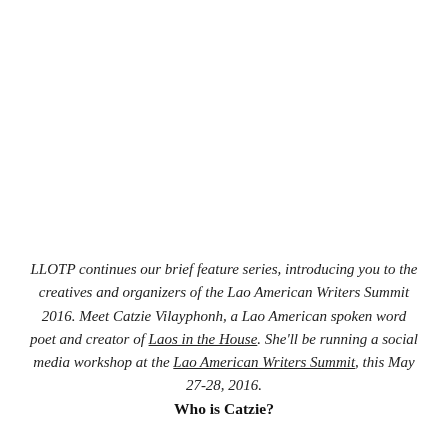LLOTP continues our brief feature series, introducing you to the creatives and organizers of the Lao American Writers Summit 2016. Meet Catzie Vilayphonh, a Lao American spoken word poet and creator of Laos in the House. She'll be running a social media workshop at the Lao American Writers Summit, this May 27-28, 2016.
Who is Catzie?